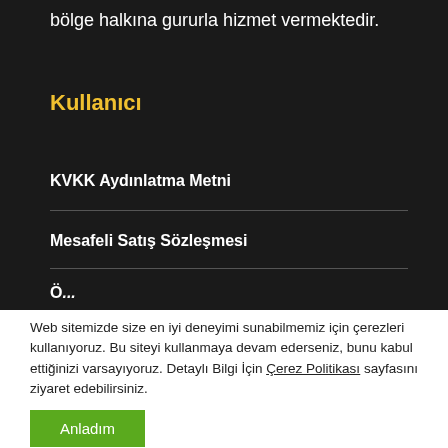bölge halkına gururla hizmet vermektedir.
Kullanıcı
KVKK Aydınlatma Metni
Mesafeli Satış Sözleşmesi
Ö...
Web sitemizde size en iyi deneyimi sunabilmemiz için çerezleri kullanıyoruz. Bu siteyi kullanmaya devam ederseniz, bunu kabul ettiğinizi varsayıyoruz. Detaylı Bilgi İçin Çerez Politikası sayfasını ziyaret edebilirsiniz.
Anladım